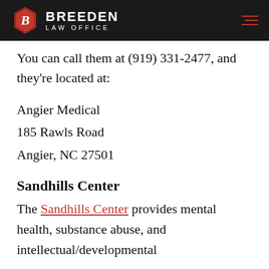BREEDEN LAW OFFICE
You can call them at (919) 331-2477, and they're located at:
Angier Medical
185 Rawls Road
Angier, NC 27501
Sandhills Center
The Sandhills Center provides mental health, substance abuse, and intellectual/developmental